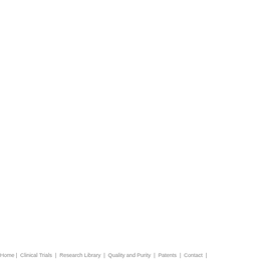Home |  Clinical Trials  |  Research Library  |  Quality and Purity  |  Patents  |  Contact  |